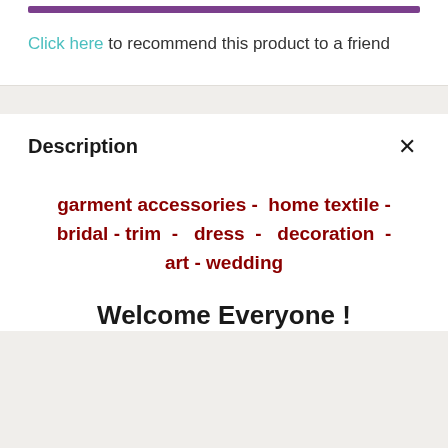Click here to recommend this product to a friend
Description
garment accessories - home textile - bridal - trim - dress - decoration - art - wedding
Welcome Everyone !